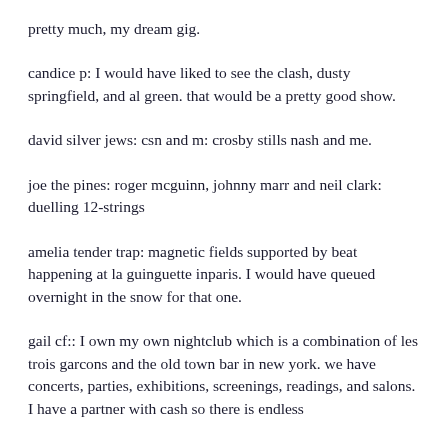pretty much, my dream gig.
candice p: I would have liked to see the clash, dusty springfield, and al green. that would be a pretty good show.
david silver jews: csn and m: crosby stills nash and me.
joe the pines: roger mcguinn, johnny marr and neil clark: duelling 12-strings
amelia tender trap: magnetic fields supported by beat happening at la guinguette inparis. I would have queued overnight in the snow for that one.
gail cf:: I own my own nightclub which is a combination of les trois garcons and the old town bar in new york. we have concerts, parties, exhibitions, screenings, readings, and salons. I have a partner with cash so there is endless